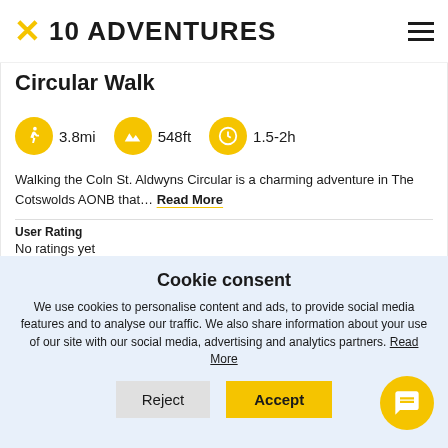10 ADVENTURES
Circular Walk
3.8mi   548ft   1.5-2h
Walking the Coln St. Aldwyns Circular is a charming adventure in The Cotswolds AONB that... Read More
User Rating
No ratings yet
Cookie consent
We use cookies to personalise content and ads, to provide social media features and to analyse our traffic. We also share information about your use of our site with our social media, advertising and analytics partners. Read More
Reject   Accept